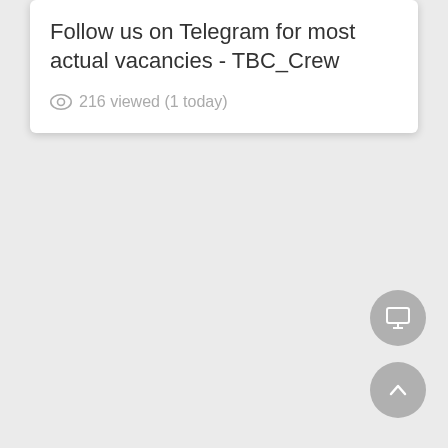Follow us on Telegram for most actual vacancies - TBC_Crew
216 viewed (1 today)
[Figure (screenshot): Two circular floating action buttons: a monitor/screen icon button and an upward chevron/arrow button, both grey, positioned at bottom right of the page.]